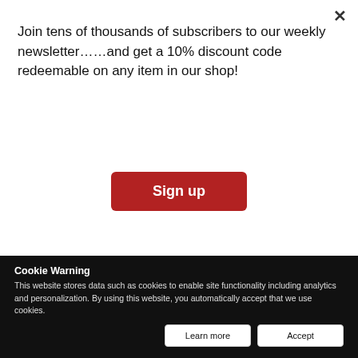Join tens of thousands of subscribers to our weekly newsletter……and get a 10% discount code redeemable on any item in our shop!
Sign up
[Figure (photo): Aerial view of multiple cargo/tanker ships on turquoise sea water]
TRANSPORT
Cookie Warning
This website stores data such as cookies to enable site functionality including analytics and personalization. By using this website, you automatically accept that we use cookies.
Learn more
Accept
Holiday Fund